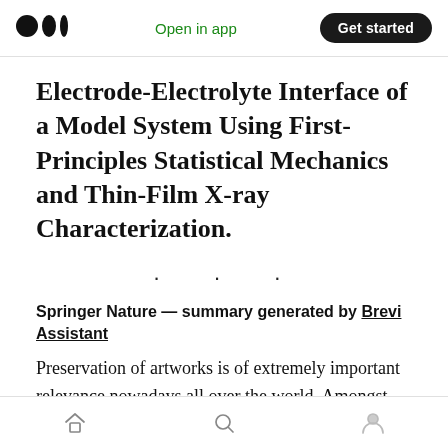Open in app  Get started
Electrode-Electrolyte Interface of a Model System Using First-Principles Statistical Mechanics and Thin-Film X-ray Characterization.
· · ·
Springer Nature — summary generated by Brevi Assistant
Preservation of artworks is of extremely important relevance nowadays all over the world. Amongst these, active infrared thermography
Home  Search  Profile